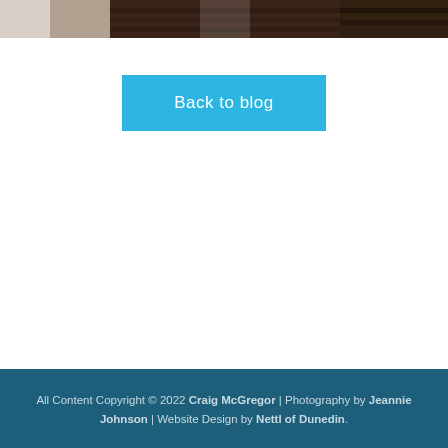[Figure (photo): Partial photo strip at top of page showing a dark wood surface and a white wall/railing, cropped at the top edge]
Back to blog
All Content Copyright © 2022 Craig McGregor | Photography by Jeannie Johnson | Website Design by Nettl of Dunedin.